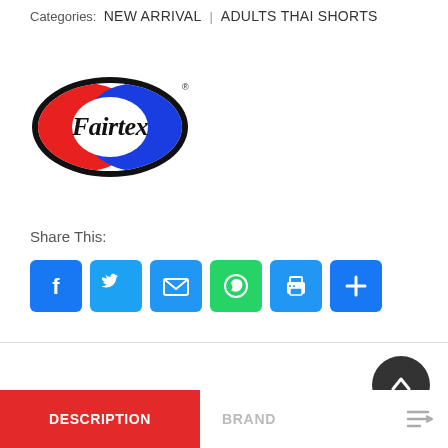Categories: NEW ARRIVAL | ADULTS THAI SHORTS
[Figure (logo): Fairtex brand logo — oval shape with red and blue sections and cursive Fairtex text in black]
Share This:
[Figure (infographic): Social sharing icons row: Facebook (blue), Twitter (blue), Email (blue), WhatsApp (green), Print (blue), More/Plus (blue)]
[Figure (other): Dark circular scroll-to-top button with upward arrow icon]
DESCRIPTION
BRAND